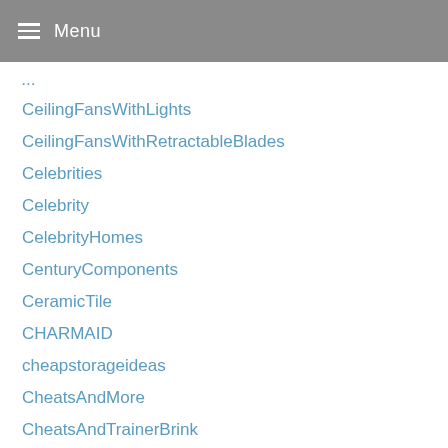Menu
CeilingFansWithLights
CeilingFansWithRetractableBlades
Celebrities
Celebrity
CelebrityHomes
CenturyComponents
CeramicTile
CHARMAID
cheapstorageideas
CheatsAndMore
CheatsAndTrainerBrink
CheatsAndTrainerTitanfall
Chelsea
ChestfordFace
ChestfordFaceVonJoseph
ChestOfDrawersPaintedBlueCoUk